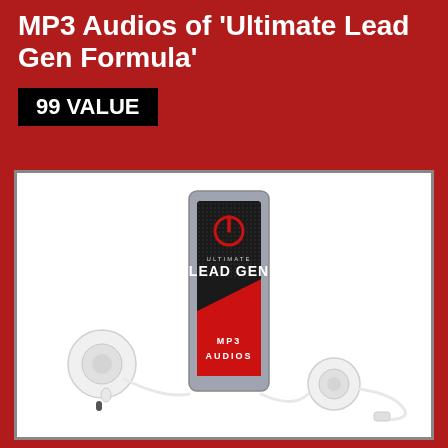MP3 Audios of 'Ultimate Lead Gen Formula'
99 VALUE
[Figure (photo): An MP3 player device displaying 'Ultimate Lead Gen Formula' branding with a red power button icon, the text ULTIMATE LEAD GEN FORMULA in bold white, and MP3 AUDIOS in a red lower section, accompanied by white Apple-style earbuds/earphones.]